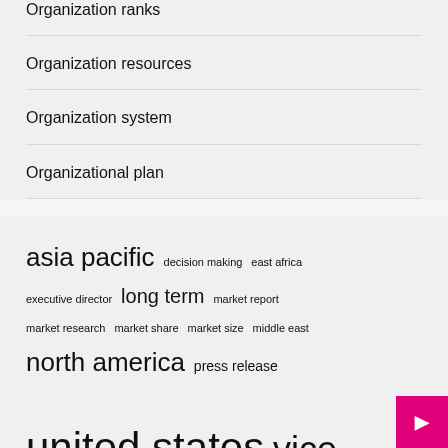Organization ranks
Organization resources
Organization system
Organizational plan
asia pacific  decision making  east africa  executive director  long term  market report  market research  market share  market size  middle east  north america  press release  united states  vice president  visit www